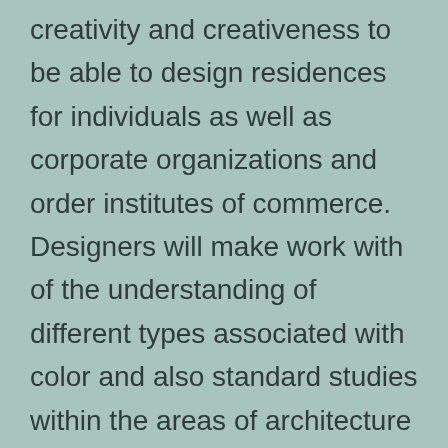creativity and creativeness to be able to design residences for individuals as well as corporate organizations and order institutes of commerce. Designers will make work with of the understanding of different types associated with color and also standard studies within the areas of architecture and even creative design in order that they create beautiful interiors and work places at the identical time.
Interior design degree programs give attention to sharing and teaching skills in various aspects of graphic drawing, structure technology, color concept and space